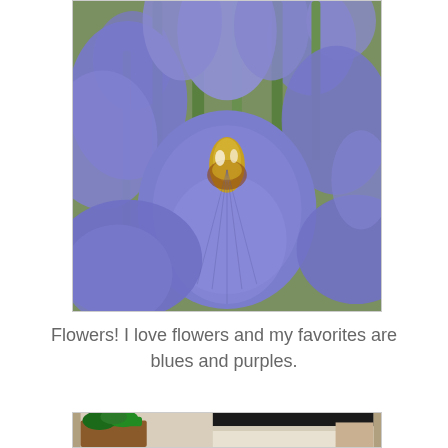[Figure (photo): Close-up photograph of purple/blue iris flowers in bloom, showing detailed petals with yellow and brown markings at the center, surrounded by green foliage and more iris blooms in the background.]
Flowers! I love flowers and my favorites are blues and purples.
[Figure (photo): Partial photograph showing what appears to be potted plants on a patio or outdoor setting, with a dark roof overhang visible.]